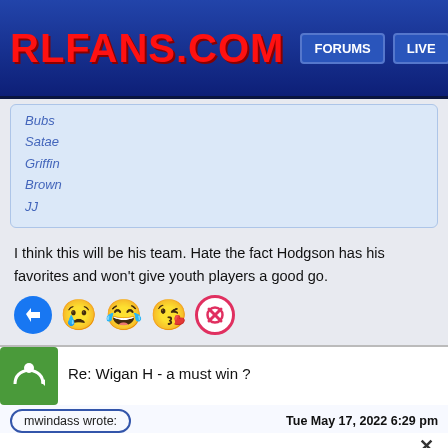RLFANS.COM | FORUMS | LIVE
Bubs
Satae
Griffin
Brown
JJ
I think this will be his team. Hate the fact Hodgson has his favorites and won't give youth players a good go.
Re: Wigan H - a must win ?
mwindass wrote:
Tue May 17, 2022 6:29 pm
Dave K. wrote:
I think this will be his team. Hate the fact Hodgson has his favorites and won't give youth players a good go.